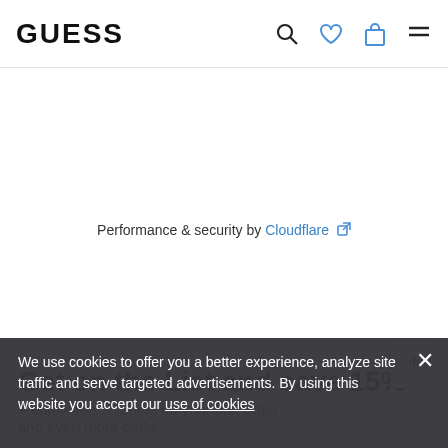GUESS
Performance & security by Cloudflare
Get on the List and save 15%
+ enjoy free shipping on your first order and even more perks
We use cookies to offer you a better experience, analyze site traffic and serve targeted advertisements. By using this website you accept our use of cookies